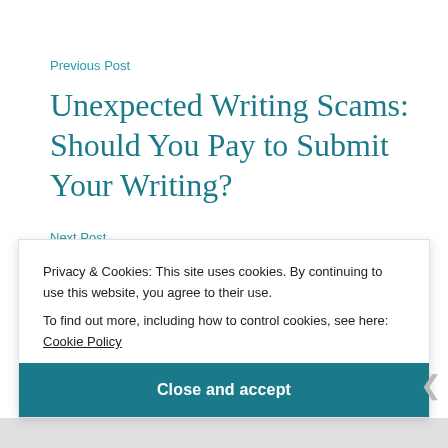Previous Post
Unexpected Writing Scams: Should You Pay to Submit Your Writing?
Next Post
The “Writing What You Know” Rule is Baloney
Privacy & Cookies: This site uses cookies. By continuing to use this website, you agree to their use.
To find out more, including how to control cookies, see here: Cookie Policy
Close and accept